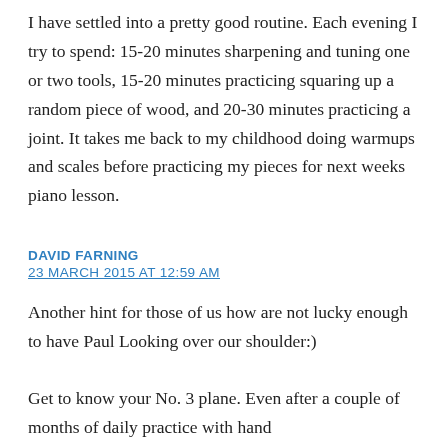I have settled into a pretty good routine. Each evening I try to spend: 15-20 minutes sharpening and tuning one or two tools, 15-20 minutes practicing squaring up a random piece of wood, and 20-30 minutes practicing a joint. It takes me back to my childhood doing warmups and scales before practicing my pieces for next weeks piano lesson.
DAVID FARNING
23 MARCH 2015 AT 12:59 AM
Another hint for those of us how are not lucky enough to have Paul Looking over our shoulder:)
Get to know your No. 3 plane. Even after a couple of months of daily practice with hand